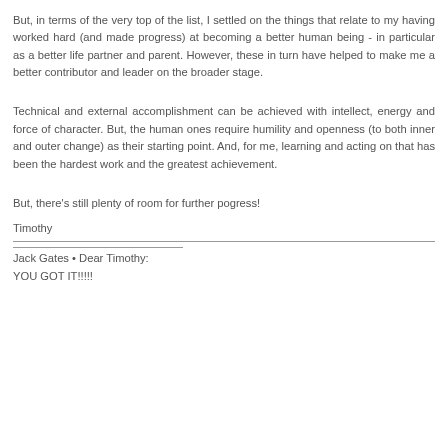But, in terms of the very top of the list, I settled on the things that relate to my having worked hard (and made progress) at becoming a better human being - in particular as a better life partner and parent. However, these in turn have helped to make me a better contributor and leader on the broader stage.
Technical and external accomplishment can be achieved with intellect, energy and force of character. But, the human ones require humility and openness (to both inner and outer change) as their starting point. And, for me, learning and acting on that has been the hardest work and the greatest achievement.
But, there's still plenty of room for further pogress!
Timothy
Jack Gates • Dear Timothy:
YOU GOT IT!!!!!